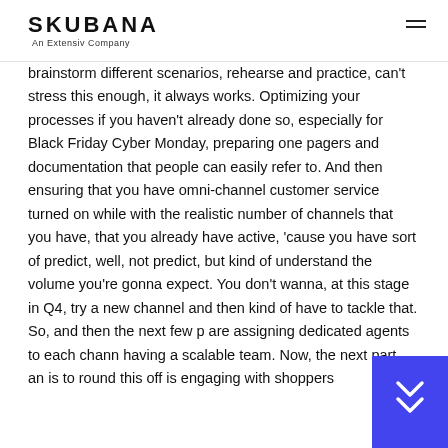SKUBANA — An Extensiv Company
brainstorm different scenarios, rehearse and practice, can't stress this enough, it always works. Optimizing your processes if you haven't already done so, especially for Black Friday Cyber Monday, preparing one pagers and documentation that people can easily refer to. And then ensuring that you have omni-channel customer service turned on while with the realistic number of channels that you have, that you already have active, 'cause you have sort of predict, well, not predict, but kind of understand the volume you're gonna expect. You don't wanna, at this stage in Q4, try a new channel and then kind of have to tackle that. So, and then the next few p are assigning dedicated agents to each chann having a scalable team. Now, the next part, an is to round this off is engaging with shoppers